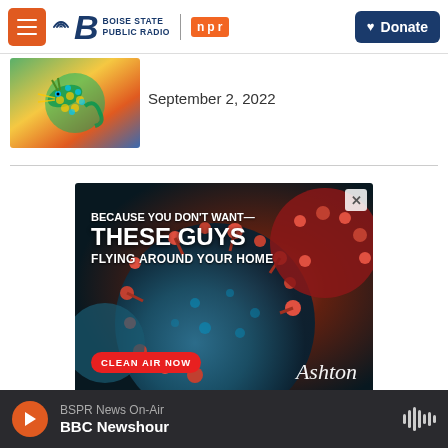Boise State Public Radio | NPR — Donate
[Figure (screenshot): Article thumbnail with dragon illustration]
September 2, 2022
[Figure (photo): Advertisement: BECAUSE YOU DON'T WANT— THESE GUYS FLYING AROUND YOUR HOME. CLEAN AIR NOW. Ashton. Close button (X).]
BSPR News On-Air | BBC Newshour